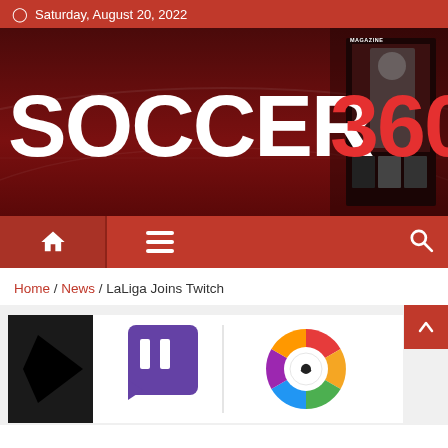Saturday, August 20, 2022
[Figure (logo): Soccer 360 Magazine logo on dark red stadium background]
[Figure (screenshot): Navigation bar with home icon, menu icon, and search icon on red background]
Home / News / LaLiga Joins Twitch
[Figure (screenshot): Article thumbnail showing Twitch logo and LaLiga logo side by side with a black diamond shape on the left]